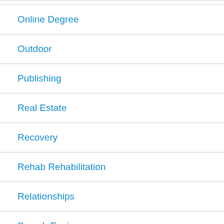Online Degree
Outdoor
Publishing
Real Estate
Recovery
Rehab Rehabilitation
Relationships
Search Engines
Self Help